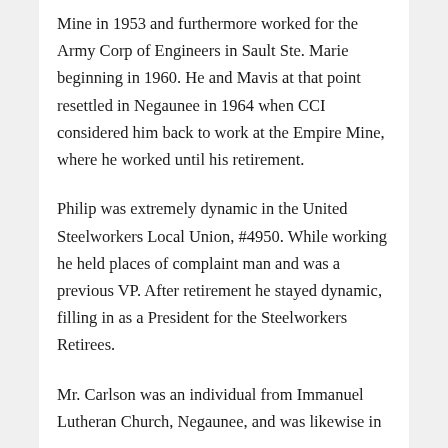Mine in 1953 and furthermore worked for the Army Corp of Engineers in Sault Ste. Marie beginning in 1960. He and Mavis at that point resettled in Negaunee in 1964 when CCI considered him back to work at the Empire Mine, where he worked until his retirement.
Philip was extremely dynamic in the United Steelworkers Local Union, #4950. While working he held places of complaint man and was a previous VP. After retirement he stayed dynamic, filling in as a President for the Steelworkers Retirees.
Mr. Carlson was an individual from Immanuel Lutheran Church, Negaunee, and was likewise in